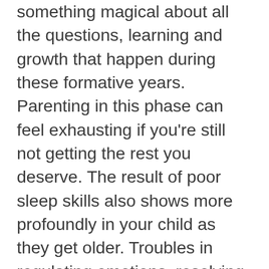something magical about all the questions, learning and growth that happen during these formative years. Parenting in this phase can feel exhausting if you're still not getting the rest you deserve. The result of poor sleep skills also shows more profoundly in your child as they get older. Troubles in regulating emotions, resolving conflict or concentrating often creep up if bedtime battles are eating into their hours of sleep. Maybe you thought they would outgrow their middle of the night trips to your bedroom, or the nighttime